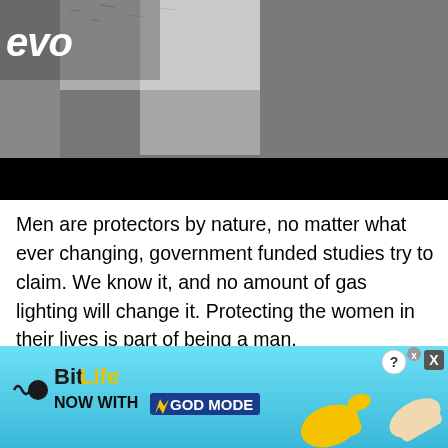[Figure (screenshot): Grainy black and white image with 'evo' text visible in white italic on left side, and a black bar at the bottom of the image area]
Men are protectors by nature, no matter what ever changing, government funded studies try to claim. We know it, and no amount of gas lighting will change it. Protecting the women in their lives is part of being a man.
Raising boys to protect the women in their lives makes society better. They learn that their actions
[Figure (screenshot): BitLife advertisement banner with blue gradient background. Shows BitLife logo with circle and squiggle, text 'NOW WITH GOD MODE' with lightning bolt, thumb emoji and pointing hand graphic on right side, close and X buttons in top right corner.]